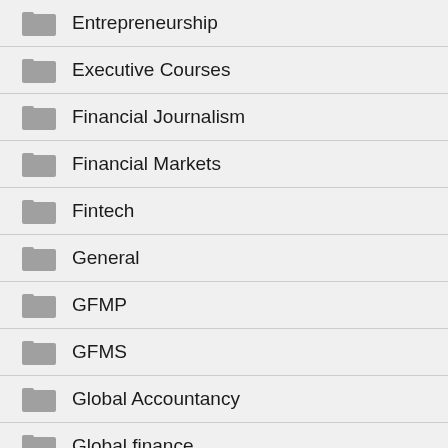Entrepreneurship
Executive Courses
Financial Journalism
Financial Markets
Fintech
General
GFMP
GFMS
Global Accountancy
Global finance